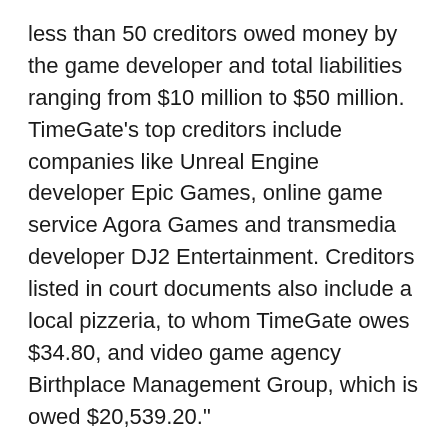less than 50 creditors owed money by the game developer and total liabilities ranging from $10 million to $50 million. TimeGate's top creditors include companies like Unreal Engine developer Epic Games, online game service Agora Games and transmedia developer DJ2 Entertainment. Creditors listed in court documents also include a local pizzeria, to whom TimeGate owes $34.80, and video game agency Birthplace Management Group, which is owed $20,539.20."
While it is possible that TimeGate may yet manage to escape its debt and ship another title, the company's soured partnerships and reputation are less easily erased. 'MINIMUM' had been scheduled for an April 16th launch on Steam's Early Access, but that date